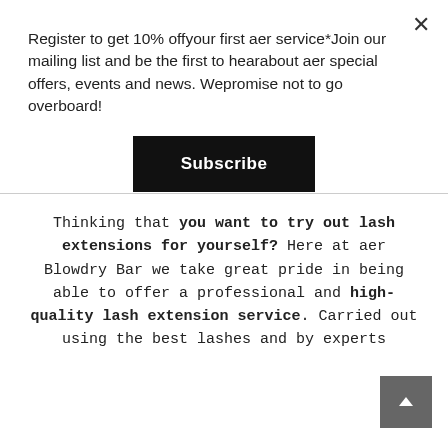Register to get 10% offyour first aer service*Join our mailing list and be the first to hearabout aer special offers, events and news. Wepromise not to go overboard!
Subscribe
Thinking that you want to try out lash extensions for yourself? Here at aer Blowdry Bar we take great pride in being able to offer a professional and high-quality lash extension service. Carried out using the best lashes and by experts